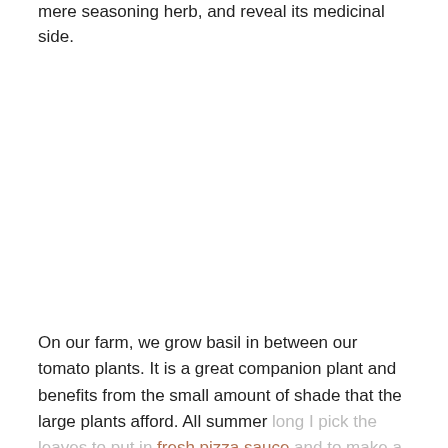mere seasoning herb, and reveal its medicinal side.
On our farm, we grow basil in between our tomato plants. It is a great companion plant and benefits from the small amount of shade that the large plants afford. All summer long I pick the leaves to put in fresh pizza sauce and to make a variety of pesto recipes. I also pick them to add to teas and